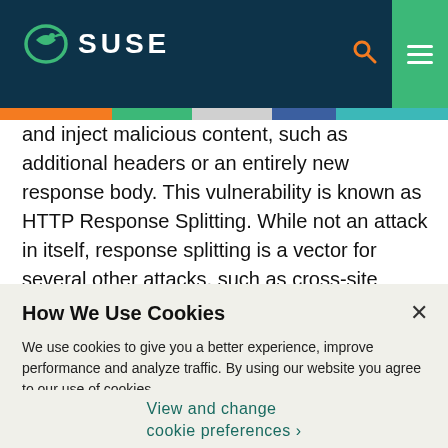SUSE
and inject malicious content, such as additional headers or an entirely new response body. This vulnerability is known as HTTP Response Splitting. While not an attack in itself, response splitting is a vector for several other attacks, such as cross-site scripting (XSS). This is related
How We Use Cookies
We use cookies to give you a better experience, improve performance and analyze traffic. By using our website you agree to our use of cookies.
View and change cookie preferences >